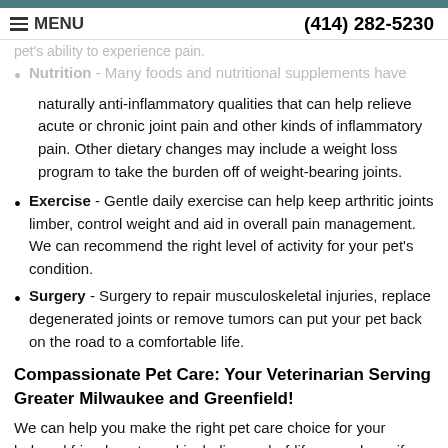MENU   (414) 282-5230
Nutrition - Many foods and nutritional supplements have naturally anti-inflammatory qualities that can help relieve acute or chronic joint pain and other kinds of inflammatory pain. Other dietary changes may include a weight loss program to take the burden off of weight-bearing joints.
Exercise - Gentle daily exercise can help keep arthritic joints limber, control weight and aid in overall pain management. We can recommend the right level of activity for your pet's condition.
Surgery - Surgery to repair musculoskeletal injuries, replace degenerated joints or remove tumors can put your pet back on the road to a comfortable life.
Compassionate Pet Care: Your Veterinarian Serving Greater Milwaukee and Greenfield!
We can help you make the right pet care choice for your beloved friend, up to and including end-of-life procedures if